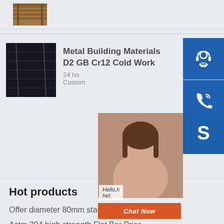[Figure (photo): Wooden crate or pallet image at top of page]
[Figure (photo): Dark metal sheets or steel plates stacked]
Metal Building Materials D2 GB Cr12 Cold Work
24 ho Custom
[Figure (illustration): Blue sidebar icon: customer service headset]
[Figure (illustration): Blue sidebar icon: telephone handset]
[Figure (photo): Customer service representative smiling]
Hello,h hel,
Chat Now
[Figure (illustration): Blue sidebar icon: Skype logo]
Hot products
Offer diameter 80mm stainless steel bar price
Astm 304 high strength Flat Bar Price
Hardfacing Welding Wear Resistant Steel Sheets